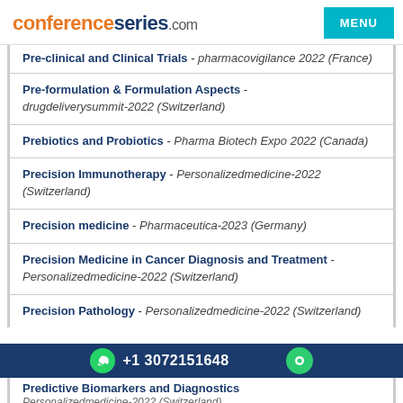conferenceseries.com MENU
Pre-clinical and Clinical Trials - pharmacovigilance 2022 (France)
Pre-formulation & Formulation Aspects - drugdeliverysummit-2022 (Switzerland)
Prebiotics and Probiotics - Pharma Biotech Expo 2022 (Canada)
Precision Immunotherapy - Personalizedmedicine-2022 (Switzerland)
Precision medicine - Pharmaceutica-2023 (Germany)
Precision Medicine in Cancer Diagnosis and Treatment - Personalizedmedicine-2022 (Switzerland)
Precision Pathology - Personalizedmedicine-2022 (Switzerland)
+1 3072151648
Predictive Biomarkers and Diagnostics - Personalizedmedicine-2022 (Switzerland)